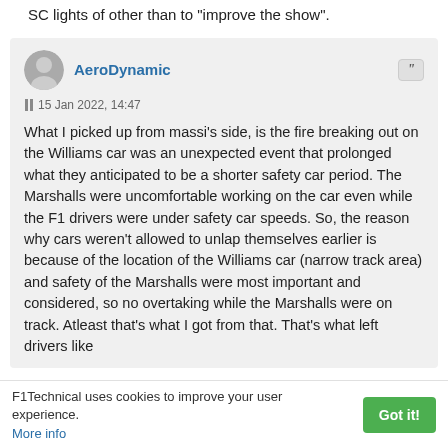There was no justification for turning it off and to turn the SC lights of other than to "improve the show".
AeroDynamic
15 Jan 2022, 14:47
What I picked up from massi’s side, is the fire breaking out on the Williams car was an unexpected event that prolonged what they anticipated to be a shorter safety car period. The Marshalls were uncomfortable working on the car even while the F1 drivers were under safety car speeds. So, the reason why cars weren’t allowed to unlap themselves earlier is because of the location of the Williams car (narrow track area) and safety of the Marshalls were most important and considered, so no overtaking while the Marshalls were on track. Atleast that’s what I got from that. That’s what left drivers like
F1Technical uses cookies to improve your user experience. More info  Got it!